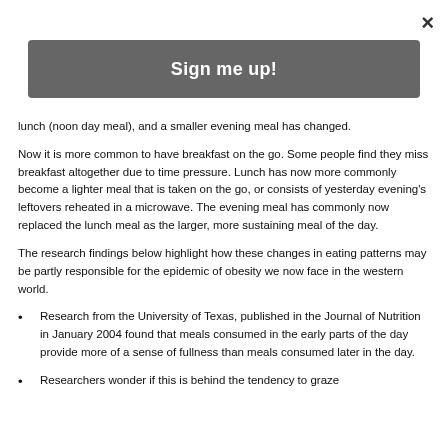×
Sign me up!
lunch (noon day meal), and a smaller evening meal has changed.
Now it is more common to have breakfast on the go. Some people find they miss breakfast altogether due to time pressure. Lunch has now more commonly become a lighter meal that is taken on the go, or consists of yesterday evening's leftovers reheated in a microwave. The evening meal has commonly now replaced the lunch meal as the larger, more sustaining meal of the day.
The research findings below highlight how these changes in eating patterns may be partly responsible for the epidemic of obesity we now face in the western world.
Research from the University of Texas, published in the Journal of Nutrition in January 2004 found that meals consumed in the early parts of the day provide more of a sense of fullness than meals consumed later in the day.
Researchers wonder if this is behind the tendency to graze